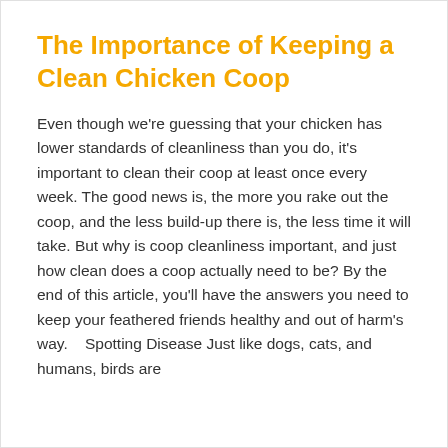The Importance of Keeping a Clean Chicken Coop
Even though we're guessing that your chicken has lower standards of cleanliness than you do, it's important to clean their coop at least once every week. The good news is, the more you rake out the coop, and the less build-up there is, the less time it will take. But why is coop cleanliness important, and just how clean does a coop actually need to be? By the end of this article, you'll have the answers you need to keep your feathered friends healthy and out of harm's way.    Spotting Disease Just like dogs, cats, and humans, birds are